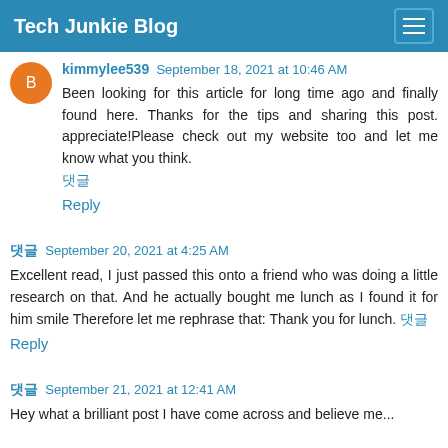Tech Junkie Blog
kimmylee539  September 18, 2021 at 10:46 AM
Been looking for this article for long time ago and finally found here. Thanks for the tips and sharing this post. appreciate!Please check out my website too and let me know what you think.
댓글
Reply
댓글  September 20, 2021 at 4:25 AM
Excellent read, I just passed this onto a friend who was doing a little research on that. And he actually bought me lunch as I found it for him smile Therefore let me rephrase that: Thank you for lunch. 댓글
Reply
댓글  September 21, 2021 at 12:41 AM
Hey what a brilliant post I have come across and believe me...